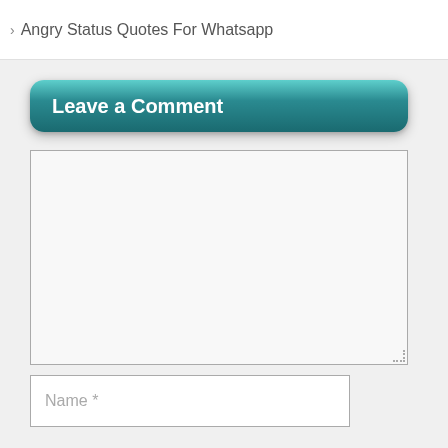Angry Status Quotes For Whatsapp
Leave a Comment
[Figure (screenshot): Comment textarea input box, empty, with resize handle at bottom right]
[Figure (screenshot): Name input field with placeholder text 'Name *']